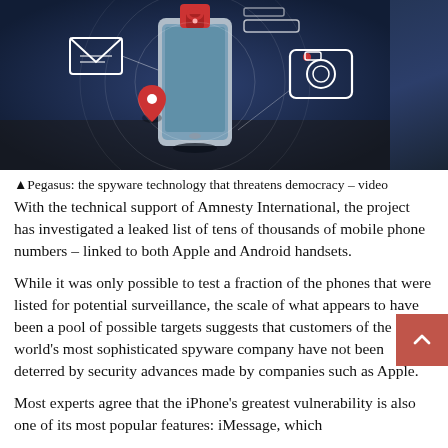[Figure (photo): Smartphone with digital security icons overlaid — envelope/email, red padlock, location pin, camera icon, and circular network graphics — on a dark navy background. Illustrates spyware/surveillance theme.]
▲Pegasus: the spyware technology that threatens democracy – video
With the technical support of Amnesty International, the project has investigated a leaked list of tens of thousands of mobile phone numbers – linked to both Apple and Android handsets.
While it was only possible to test a fraction of the phones that were listed for potential surveillance, the scale of what appears to have been a pool of possible targets suggests that customers of the world's most sophisticated spyware company have not been deterred by security advances made by companies such as Apple.
Most experts agree that the iPhone's greatest vulnerability is also one of its most popular features: iMessage, which